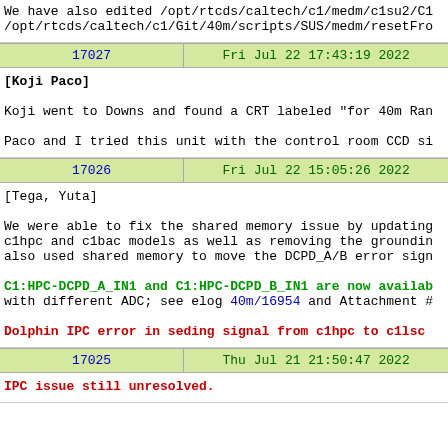We have also edited /opt/rtcds/caltech/c1/medm/c1su2/C1 /opt/rtcds/caltech/c1/Git/40m/scripts/SUS/medm/resetFro
| 17027 | Fri Jul 22 17:43:19 2022 |
| --- | --- |
[Koji Paco]

Koji went to Downs and found a CRT labeled "for 40m Ran

Paco and I tried this unit with the control room CCD si
| 17026 | Fri Jul 22 15:05:26 2022 |
| --- | --- |
[Tega, Yuta]

We were able to fix the shared memory issue by updating c1hpc and c1bac models as well as removing the groundin also used shared memory to move the DCPD_A/B error sign

C1:HPC-DCPD_A_IN1 and C1:HPC-DCPD_B_IN1 are now availab with different ADC; see elog 40m/16954 and Attachment #

Dolphin IPC error in seding signal from c1hpc to c1lsc
| 17025 | Thu Jul 21 21:50:47 2022 |
| --- | --- |
IPC issue still unresolved.